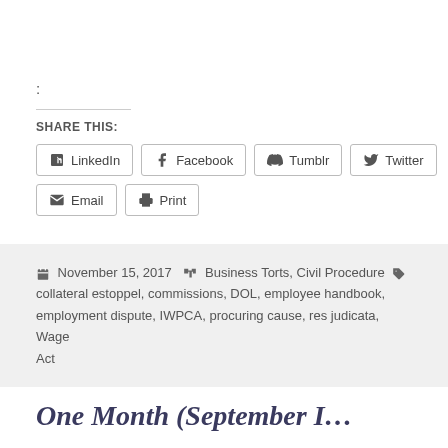:
SHARE THIS:
LinkedIn  Facebook  Tumblr  Twitter  Email  Print
November 15, 2017  Business Torts, Civil Procedure  collateral estoppel, commissions, DOL, employee handbook, employment dispute, IWPCA, procuring cause, res judicata, Wage Act
One Month (September I…